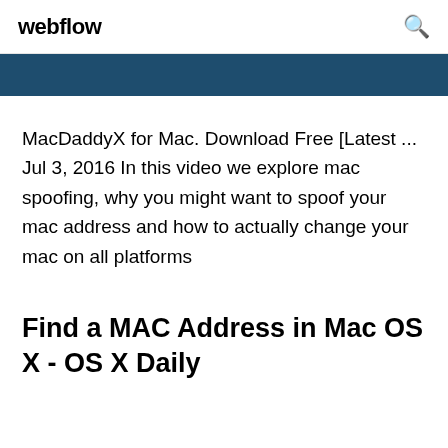webflow
[Figure (screenshot): Dark blue banner/navigation bar]
MacDaddyX for Mac. Download Free [Latest ... Jul 3, 2016 In this video we explore mac spoofing, why you might want to spoof your mac address and how to actually change your mac on all platforms
Find a MAC Address in Mac OS X - OS X Daily